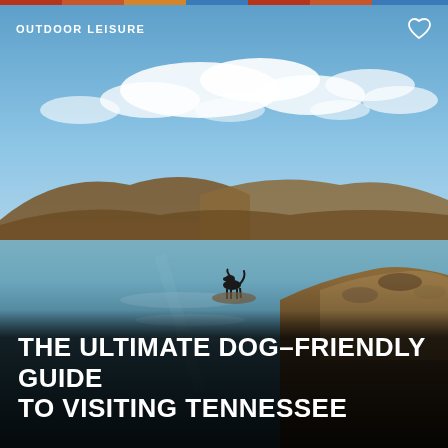[Figure (photo): A black dog standing at the edge of a calm lake with autumn hills in the background under a blue sky with white clouds. Rocky shoreline visible on the right.]
OUTDOOR LEISURE
THE ULTIMATE DOG–FRIENDLY GUIDE TO VISITING TENNESSEE